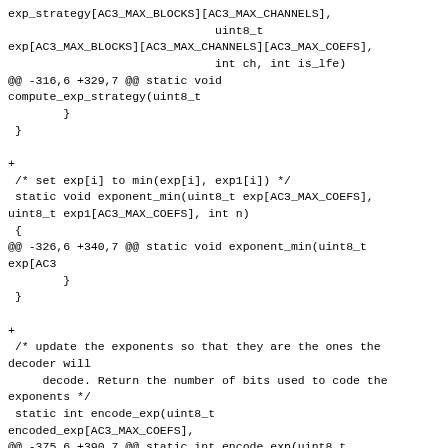exp_strategy[AC3_MAX_BLOCKS][AC3_MAX_CHANNELS],
                              uint8_t
exp[AC3_MAX_BLOCKS][AC3_MAX_CHANNELS][AC3_MAX_COEFS],
                              int ch, int is_lfe)
@@ -316,6 +329,7 @@ static void
compute_exp_strategy(uint8_t
        }
 }

+
 /* set exp[i] to min(exp[i], exp1[i]) */
 static void exponent_min(uint8_t exp[AC3_MAX_COEFS],
uint8_t exp1[AC3_MAX_COEFS], int n)
 {
@@ -326,6 +340,7 @@ static void exponent_min(uint8_t
exp[AC3
        }
 }

+
 /* update the exponents so that they are the ones the decoder will
     decode. Return the number of bits used to code the exponents */
 static int encode_exp(uint8_t
encoded_exp[AC3_MAX_COEFS],
@@ -375,6 +390,7 @@ static int encode_exp(uint8_t
encoded_ex
        return 4 + (nb_groups / 3) * 7;
 }